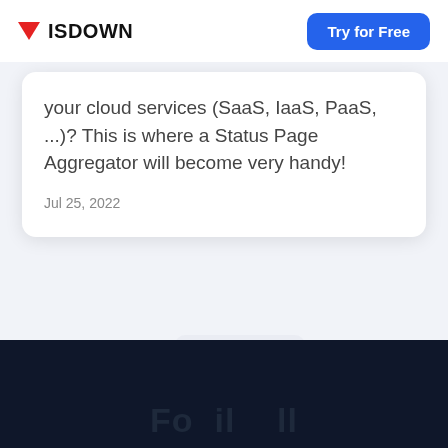ISDOWN | Try for Free
your cloud services (SaaS, IaaS, PaaS, ...)? This is where a Status Page Aggregator will become very handy!
Jul 25, 2022
Fo il ll